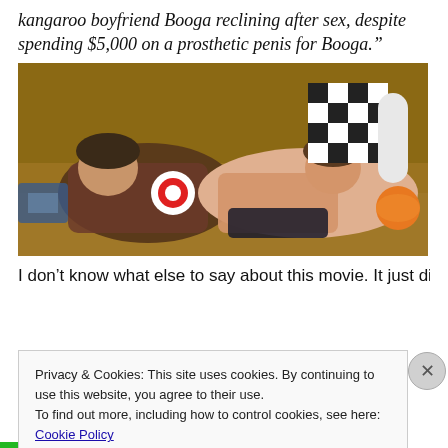kangaroo boyfriend Booga reclining after sex, despite spending $5,000 on a prosthetic penis for Booga."
[Figure (photo): Two people reclining on a wooden floor surrounded by colorful objects including checkered items and toys.]
I don’t know what else to say about this movie. It just didn’t
Privacy & Cookies: This site uses cookies. By continuing to use this website, you agree to their use.
To find out more, including how to control cookies, see here: Cookie Policy